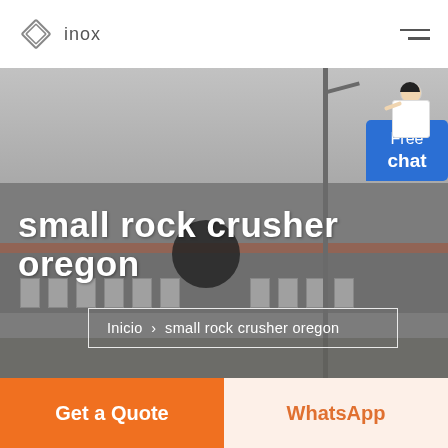inox
[Figure (screenshot): Hero banner showing a grey industrial factory building in the background with a dark circle overlay and a pole. Title text 'small rock crusher oregon' overlaid in white. A 'Free chat' widget with a person illustration appears at top right. Breadcrumb navigation box with 'Inicio > small rock crusher oregon' shown.]
small rock crusher oregon
Inicio  >  small rock crusher oregon
Free
chat
Get a Quote
WhatsApp